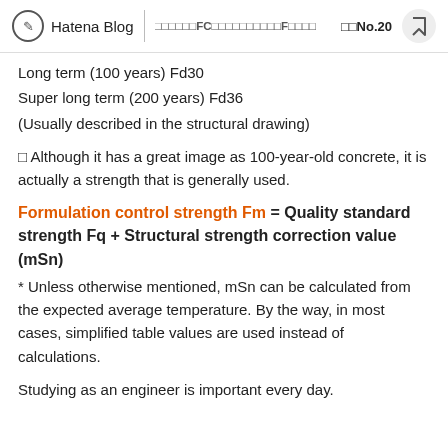Hatena Blog | □□□□□□FC□□□□□□□□□□F□□□□   □□No.20
Long term (100 years) Fd30
Super long term (200 years) Fd36
(Usually described in the structural drawing)
□ Although it has a great image as 100-year-old concrete, it is actually a strength that is generally used.
Formulation control strength Fm = Quality standard strength Fq + Structural strength correction value (mSn)
* Unless otherwise mentioned, mSn can be calculated from the expected average temperature. By the way, in most cases, simplified table values are used instead of calculations.
Studying as an engineer is important every day.